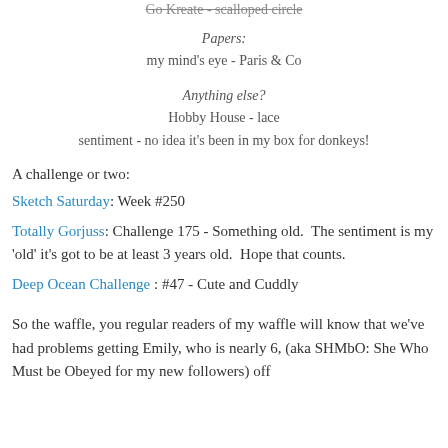Go Kreate - scalloped circle
Papers:
my mind's eye - Paris & Co
Anything else?
Hobby House - lace
sentiment - no idea it's been in my box for donkeys!
A challenge or two:
Sketch Saturday: Week #250
Totally Gorjuss: Challenge 175 - Something old.  The sentiment is my 'old' it's got to be at least 3 years old.  Hope that counts.
Deep Ocean Challenge : #47 - Cute and Cuddly
So the waffle, you regular readers of my waffle will know that we've had problems getting Emily, who is nearly 6, (aka SHMbO: She Who Must be Obeyed for my new followers) off